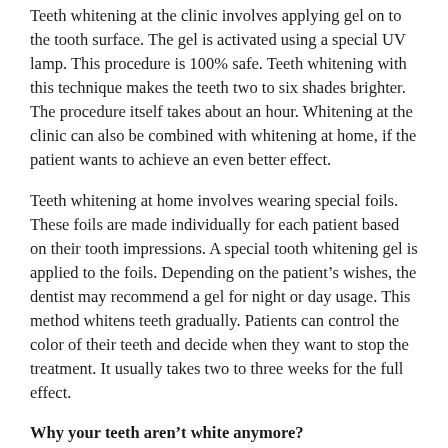Teeth whitening at the clinic involves applying gel on to the tooth surface. The gel is activated using a special UV lamp. This procedure is 100% safe. Teeth whitening with this technique makes the teeth two to six shades brighter. The procedure itself takes about an hour. Whitening at the clinic can also be combined with whitening at home, if the patient wants to achieve an even better effect.
Teeth whitening at home involves wearing special foils. These foils are made individually for each patient based on their tooth impressions. A special tooth whitening gel is applied to the foils. Depending on the patient's wishes, the dentist may recommend a gel for night or day usage. This method whitens teeth gradually. Patients can control the color of their teeth and decide when they want to stop the treatment. It usually takes two to three weeks for the full effect.
Why your teeth aren't white anymore?
There are various factors that make our teeth darker after a certain time. Some of these factors are external (tea, coffee,